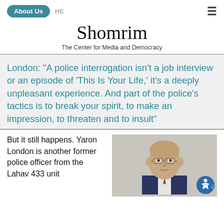About Us  HE
Shomrim
The Center for Media and Democracy
London: “A police interrogation isn’t a job interview or an episode of ‘This Is Your Life,’ it’s a deeply unpleasant experience. And part of the police’s tactics is to break your spirit, to make an impression, to threaten and to insult”
But it still happens. Yaron London is another former police officer from the Lahav 433 unit
[Figure (photo): Headshot of a middle-aged balding man wearing glasses and a suit]